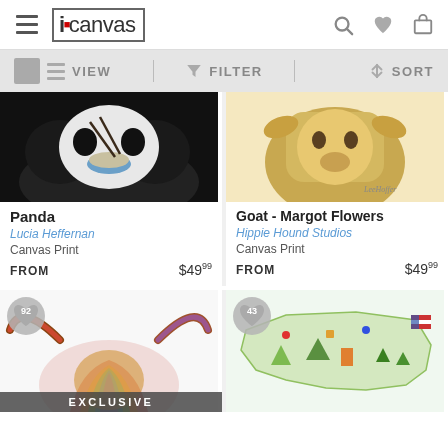[Figure (screenshot): iCanvas mobile app header with hamburger menu, iCanvas logo, search icon, heart icon, cart icon]
[Figure (screenshot): Toolbar with VIEW (grid/list icons), FILTER (funnel icon), SORT (arrows icon)]
[Figure (photo): Panda eating rice from a blue bowl with chopsticks]
Panda
Lucia Heffernan
Canvas Print
FROM   $49.99
[Figure (photo): Goat painting - Margot Flowers style, colorful llama/goat portrait]
Goat - Margot Flowers
Hippie Hound Studios
Canvas Print
FROM   $49.99
[Figure (illustration): Colorful highland cow with large horns, partial view, with 92 heart badge and EXCLUSIVE label]
[Figure (illustration): USA map infographic with colorful icons and illustrations, with 43 heart badge]